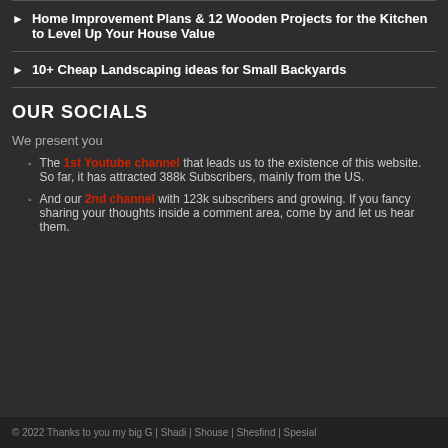Home Improvement Plans & 12 Wooden Projects for the Kitchen to Level Up Your House Value
10+ Cheap Landscaping ideas for Small Backyards
OUR SOCIALS
We present you
The 1st Youtube channel that leads us to the existence of this website. So far, it has attracted 388k Subscribers, mainly from the US.
And our 2nd channel with 123k subscribers and growing. If you fancy sharing your thoughts inside a comment area, come by and let us hear them.
© 2022 Thanks to you my big G | Shadi | Shouse | Shesfind | Spesial